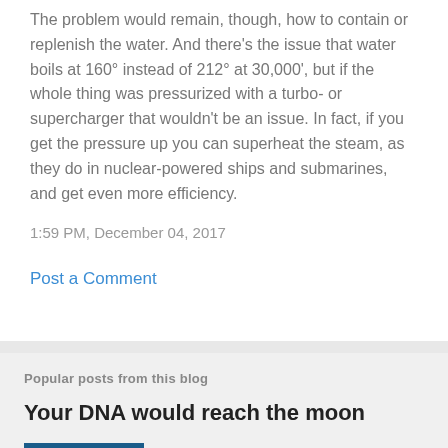The problem would remain, though, how to contain or replenish the water. And there's the issue that water boils at 160° instead of 212° at 30,000', but if the whole thing was pressurized with a turbo- or supercharger that wouldn't be an issue. In fact, if you get the pressure up you can superheat the steam, as they do in nuclear-powered ships and submarines, and get even more efficiency.
1:59 PM, December 04, 2017
Post a Comment
Popular posts from this blog
Your DNA would reach the moon
Foolishness! Your DNA would actually stretch